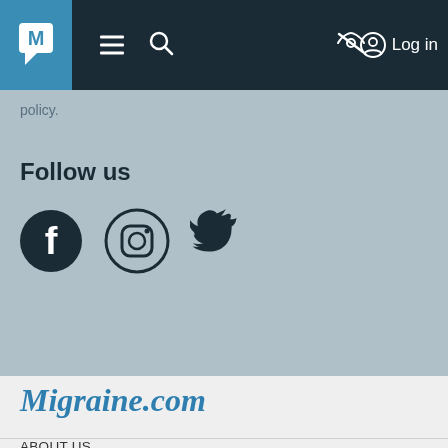M [logo] ≡ 🔍 [eye-slash] Log in
policy.
Follow us
[Figure (illustration): Social media icons: Facebook, Instagram, Twitter]
Migraine.com
ABOUT US
CONTACT US
TERMS OF USE
PRIVACY POLICY